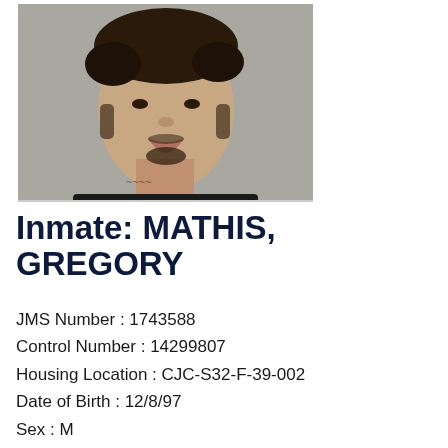[Figure (photo): Mugshot of inmate Gregory Mathis, a young man with curly dark hair, goatee, neck tattoo, wearing a black shirt, photographed against a gray background.]
Inmate: MATHIS, GREGORY
JMS Number : 1743588
Control Number : 14299807
Housing Location : CJC-S32-F-39-002
Date of Birth : 12/8/97
Sex : M
Race : B
Admitted Date : 2/3/22 09:15:00 PM